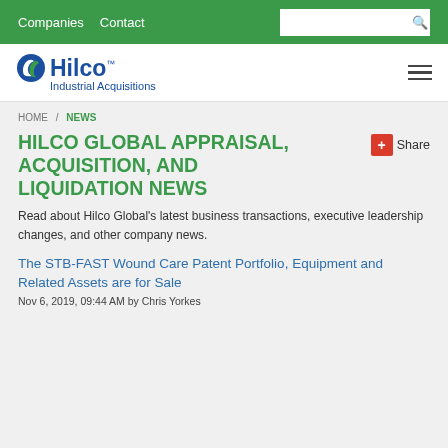Companies  Contact
[Figure (logo): Hilco Industrial Acquisitions logo with blue circular swoosh icon and blue text]
HOME / NEWS
HILCO GLOBAL APPRAISAL, ACQUISITION, AND LIQUIDATION NEWS
Read about Hilco Global's latest business transactions, executive leadership changes, and other company news.
The STB-FAST Wound Care Patent Portfolio, Equipment and Related Assets are for Sale
Nov 6, 2019, 09:44 AM by Chris Yorkes